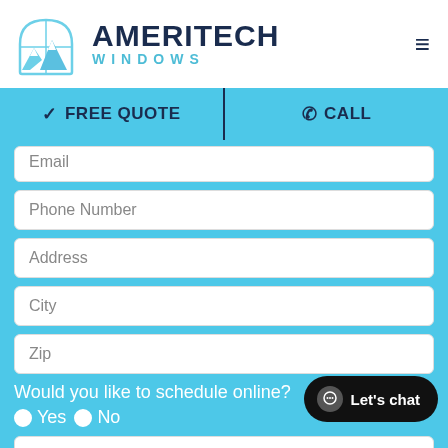[Figure (logo): Ameritech Windows logo with mountain/window icon and company name]
AMERITECH WINDOWS
✓ FREE QUOTE   ☎ CALL
Email
Phone Number
Address
City
Zip
Would you like to schedule online?
● Yes ● No
Project
Let's chat